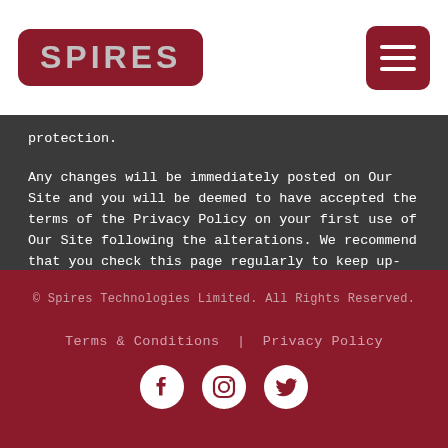[Figure (logo): Spires logo in dark red rounded rectangle with grey text]
protection.
Any changes will be immediately posted on Our Site and you will be deemed to have accepted the terms of the Privacy Policy on your first use of Our Site following the alterations. We recommend that you check this page regularly to keep up-to-date.
© Spires Technologies Limited. All Rights Reserved.
Terms & Conditions | Privacy Policy